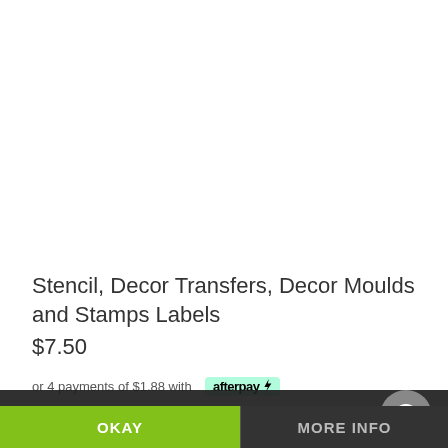[Figure (photo): White/blank product image area]
Stencil, Decor Transfers, Decor Moulds and Stamps Labels
$7.50
or 4 payments of $1.88 with afterpay
This website uses cookies
OKAY
MORE INFO